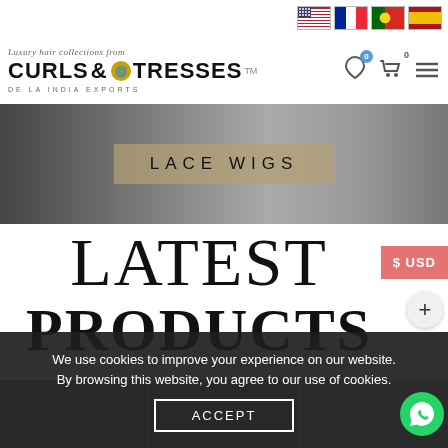[Figure (screenshot): Language flag icons for US, France, Portugal, Spain shown in top right header]
[Figure (logo): Curls & Tresses TM logo with tagline 'Luxury hair collections from' and 'DE LA INDIA EXPORTS']
[Figure (photo): Banner image showing hair styles with 'LACE WIGS' text overlay]
$ USD
LATEST
PRODUCTS
We use cookies to improve your experience on our website. By browsing this website, you agree to our use of cookies.
ACCEPT
[Figure (photo): WhatsApp chat button in bottom right corner]
Curls & Tresses